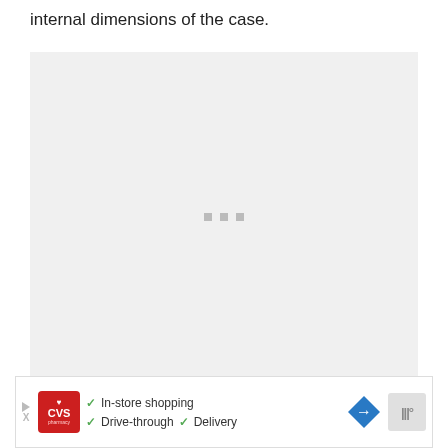internal dimensions of the case.
[Figure (photo): A large light gray placeholder image box with three small gray loading indicator squares in the center, indicating an image that has not loaded.]
[Figure (other): Advertisement bar: CVS Pharmacy ad showing In-store shopping, Drive-through, Delivery checkmarks, a blue road sign icon, and a Waze-like icon.]